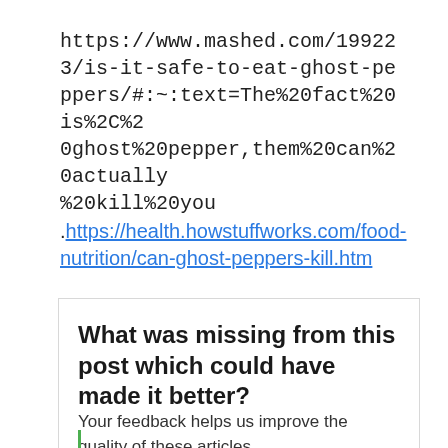https://www.mashed.com/199223/is-it-safe-to-eat-ghost-peppers/#:~:text=The%20fact%20is%2C%20ghost%20pepper,them%20can%20actually%20kill%20you
.https://health.howstuffworks.com/food-nutrition/can-ghost-peppers-kill.htm
What was missing from this post which could have made it better?
Your feedback helps us improve the quality of these articles.